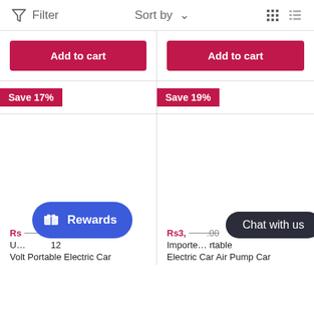Filter   Sort by   (grid/list view icons)
Add to cart
Add to cart
Save 17%
Save 19%
Rs450.00  U...12 Volt Portable Electric Car
Rs3,...00  Imported Portable Electric Car Air Pump Car
Rewards
Chat with us